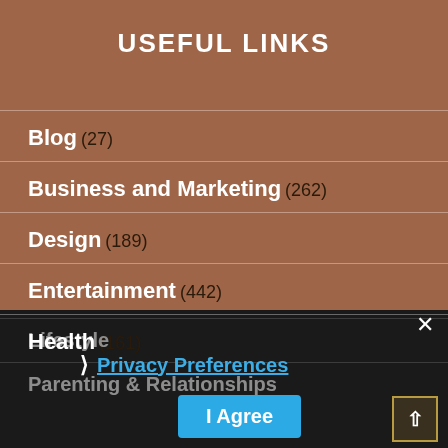USEFUL LINKS
Blog (27)
Business and Marketing (262)
Design (189)
Entertainment (442)
Health (161)
Lifestyle
Parenting & Relationships
Privacy Preferences
I Agree